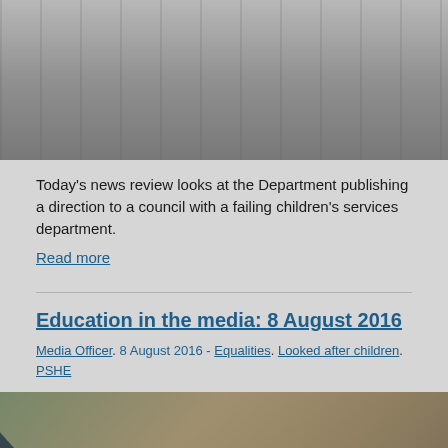[Figure (photo): Close-up photograph of microphones, blurred gray-toned background]
Today’s news review looks at the Department publishing a direction to a council with a failing children’s services department.
Read more
Education in the media: 8 August 2016
Media Officer. 8 August 2016 - Equalities. Looked after children. PSHE
[Figure (photo): Blurred photograph of library bookshelves with a dark wedge overlay and gear/cog icon in lower left]